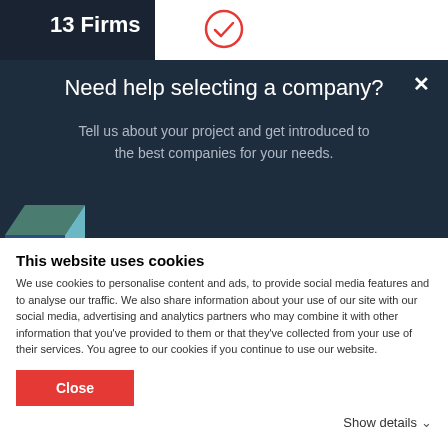13 Firms
[Figure (screenshot): Modal dialog with 'Need help selecting a company?' heading, subtitle text, and an illustration showing stars and a paper airplane above a browser window mockup, with a decorative 3D cube on the left side]
Need help selecting a company?
Tell us about your project and get introduced to the best companies for your needs.
This website uses cookies
We use cookies to personalise content and ads, to provide social media features and to analyse our traffic. We also share information about your use of our site with our social media, advertising and analytics partners who may combine it with other information that you've provided to them or that they've collected from your use of their services. You agree to our cookies if you continue to use our website.
Close
Show details